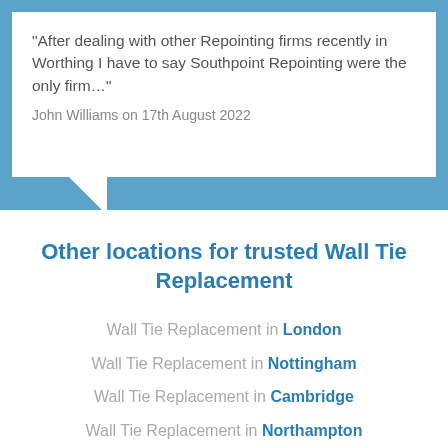"After dealing with other Repointing firms recently in Worthing I have to say Southpoint Repointing were the only firm…"
John Williams on 17th August 2022
Other locations for trusted Wall Tie Replacement
Wall Tie Replacement in London
Wall Tie Replacement in Nottingham
Wall Tie Replacement in Cambridge
Wall Tie Replacement in Northampton